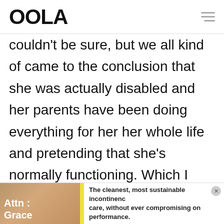OOLA
couldn't be sure, but we all kind of came to the conclusion that she was actually disabled and her parents have been doing everything for her her whole life and pretending that she's normally functioning. Which I wouldn't care about usually, but she's now an
[Figure (other): Advertisement banner for Attn: Grace incontinence care products with text: 'The cleanest, most sustainable incontinence care, without ever compromising on performance.']